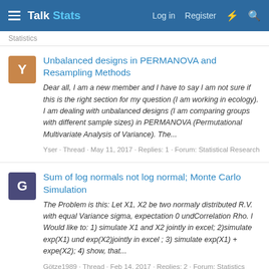Talk Stats — Log in  Register
Statistics
Unbalanced designs in PERMANOVA and Resampling Methods
Dear all, I am a new member and I have to say I am not sure if this is the right section for my question (I am working in ecology). I am dealing with unbalanced designs (I am comparing groups with different sample sizes) in PERMANOVA (Permutational Multivariate Analysis of Variance). The...
Yser · Thread · May 11, 2017 · Replies: 1 · Forum: Statistical Research
Sum of log normals not log normal; Monte Carlo Simulation
The Problem is this: Let X1, X2 be two normaly distributed R.V. with equal Variance sigma, expectation 0 undCorrelation Rho. I Would like to: 1) simulate X1 and X2 jointly in excel; 2)simulate exp(X1) und exp(X2)jointly in excel ; 3) simulate exp(X1) + expe(X2); 4) show, that...
Götze1989 · Thread · Feb 14, 2017 · Replies: 2 · Forum: Statistics